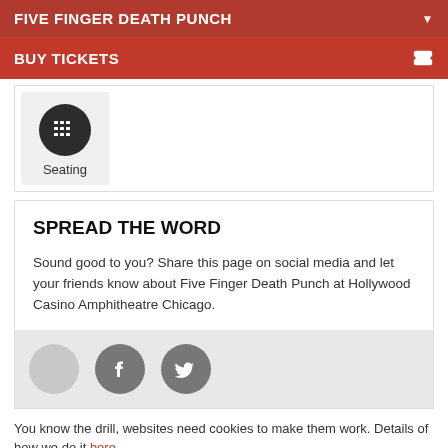FIVE FINGER DEATH PUNCH
BUY TICKETS
[Figure (other): Seating icon: dark circle with grid/seating symbol, labeled 'Seating']
SPREAD THE WORD
Sound good to you? Share this page on social media and let your friends know about Five Finger Death Punch at Hollywood Casino Amphitheatre Chicago.
[Figure (other): Social media share buttons: light gray circle, Facebook icon circle, Twitter bird icon circle]
You know the drill, websites need cookies to make them work. Details of how we do it here.
Got it!